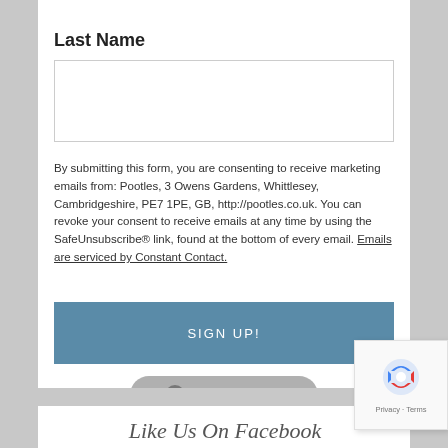Last Name
By submitting this form, you are consenting to receive marketing emails from: Pootles, 3 Owens Gardens, Whittlesey, Cambridgeshire, PE7 1PE, GB, http://pootles.co.uk. You can revoke your consent to receive emails at any time by using the SafeUnsubscribe® link, found at the bottom of every email. Emails are serviced by Constant Contact.
SIGN UP!
[Figure (logo): Constant Contact badge/logo button]
[Figure (logo): Google reCAPTCHA logo with Privacy and Terms links]
Like Us On Facebook